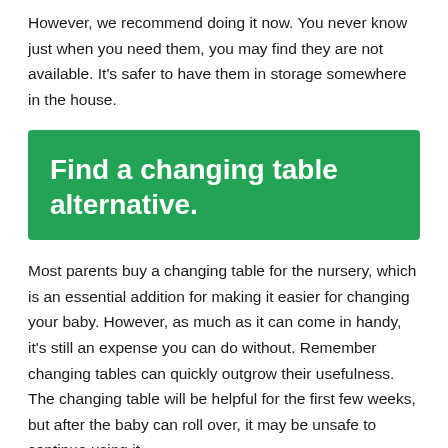However, we recommend doing it now. You never know just when you need them, you may find they are not available. It's safer to have them in storage somewhere in the house.
Find a changing table alternative.
Most parents buy a changing table for the nursery, which is an essential addition for making it easier for changing your baby. However, as much as it can come in handy, it's still an expense you can do without. Remember changing tables can quickly outgrow their usefulness. The changing table will be helpful for the first few weeks, but after the baby can roll over, it may be unsafe to continue using it.